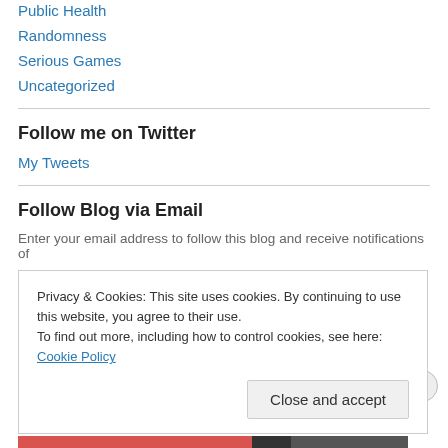Public Health
Randomness
Serious Games
Uncategorized
Follow me on Twitter
My Tweets
Follow Blog via Email
Enter your email address to follow this blog and receive notifications of
Privacy & Cookies: This site uses cookies. By continuing to use this website, you agree to their use.
To find out more, including how to control cookies, see here: Cookie Policy
Close and accept